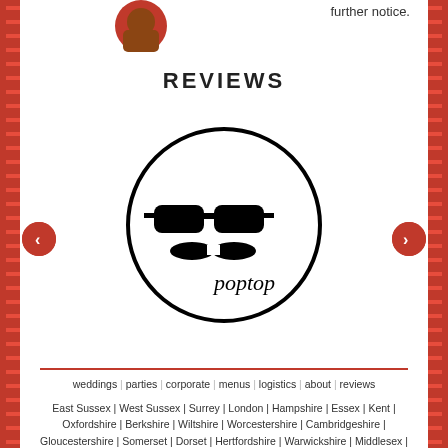further notice.
REVIEWS
[Figure (logo): Poptop logo: sunglasses and mustache icon with the word 'poptop' in a circle]
weddings | parties | corporate | menus | logistics | about | reviews
East Sussex | West Sussex | Surrey | London | Hampshire | Essex | Kent | Oxfordshire | Berkshire | Wiltshire | Worcestershire | Cambridgeshire | Gloucestershire | Somerset | Dorset | Hertfordshire | Warwickshire | Middlesex | Suffolk |